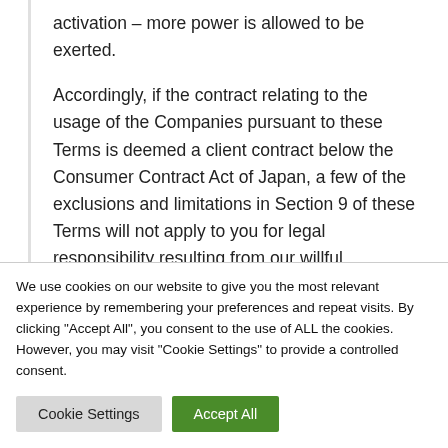activation – more power is allowed to be exerted.
Accordingly, if the contract relating to the usage of the Companies pursuant to these Terms is deemed a client contract below the Consumer Contract Act of Japan, a few of the exclusions and limitations in Section 9 of these Terms will not apply to you for legal responsibility resulting from our willful misconduct or gross negligence.
We use cookies on our website to give you the most relevant experience by remembering your preferences and repeat visits. By clicking "Accept All", you consent to the use of ALL the cookies. However, you may visit "Cookie Settings" to provide a controlled consent.